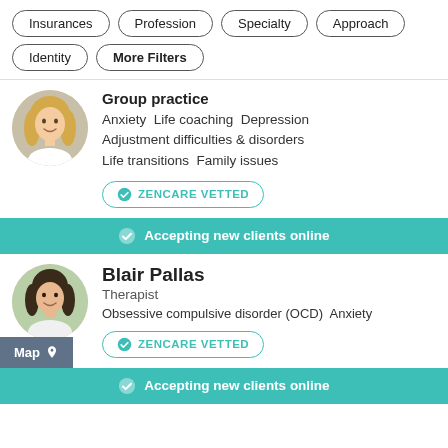Insurances
Profession
Specialty
Approach
Identity
More Filters
Group practice
Anxiety  Life coaching  Depression  Adjustment difficulties & disorders  Life transitions  Family issues
ZENCARE VETTED
Accepting new clients online
Blair Pallas
Therapist
Obsessive compulsive disorder (OCD)  Anxiety
ZENCARE VETTED
Map
Accepting new clients online